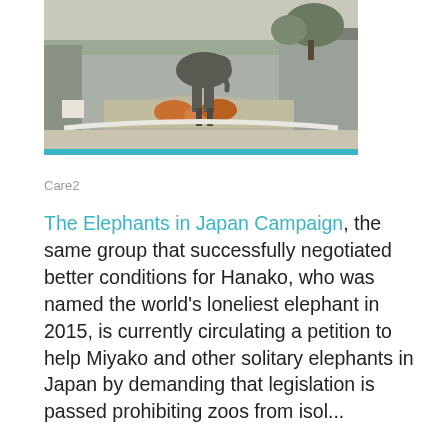[Figure (photo): An elephant standing on or near a raised circular enclosure with painted animal murals, set in an outdoor zoo environment with trees and concrete structures visible in the background.]
Care2
The Elephants in Japan Campaign, the same group that successfully negotiated better conditions for Hanako, who was named the world's loneliest elephant in 2015, is currently circulating a petition to help Miyako and other solitary elephants in Japan by demanding that legislation is passed prohibiting zoos from isolating them...